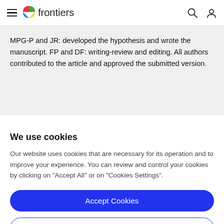frontiers
MPG-P and JR: developed the hypothesis and wrote the manuscript. FP and DF: writing-review and editing. All authors contributed to the article and approved the submitted version.
We use cookies
Our website uses cookies that are necessary for its operation and to improve your experience. You can review and control your cookies by clicking on "Accept All" or on "Cookies Settings".
Accept Cookies
Cookies Settings